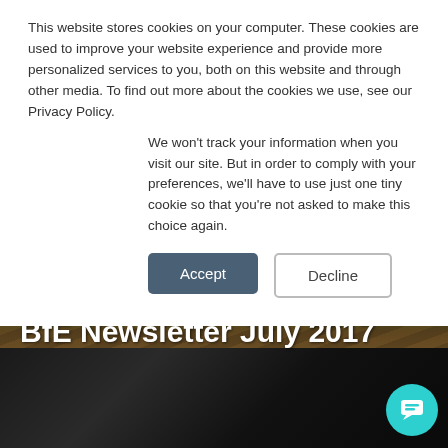This website stores cookies on your computer. These cookies are used to improve your website experience and provide more personalized services to you, both on this website and through other media. To find out more about the cookies we use, see our Privacy Policy.
We won't track your information when you visit our site. But in order to comply with your preferences, we'll have to use just one tiny cookie so that you're not asked to make this choice again.
Accept
Decline
BfE Newsletter July 2017
August 20, 2017
[Figure (photo): Dark photograph of people in a dimly lit room with wires and equipment, appearing to be in Africa.]